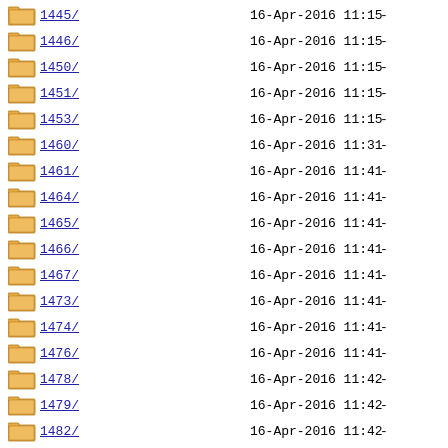1445/ 16-Apr-2016 11:15 -
1446/ 16-Apr-2016 11:15 -
1450/ 16-Apr-2016 11:15 -
1451/ 16-Apr-2016 11:15 -
1453/ 16-Apr-2016 11:15 -
1460/ 16-Apr-2016 11:31 -
1461/ 16-Apr-2016 11:41 -
1464/ 16-Apr-2016 11:41 -
1465/ 16-Apr-2016 11:41 -
1466/ 16-Apr-2016 11:41 -
1467/ 16-Apr-2016 11:41 -
1473/ 16-Apr-2016 11:41 -
1474/ 16-Apr-2016 11:41 -
1476/ 16-Apr-2016 11:41 -
1478/ 16-Apr-2016 11:42 -
1479/ 16-Apr-2016 11:42 -
1482/ 16-Apr-2016 11:42 -